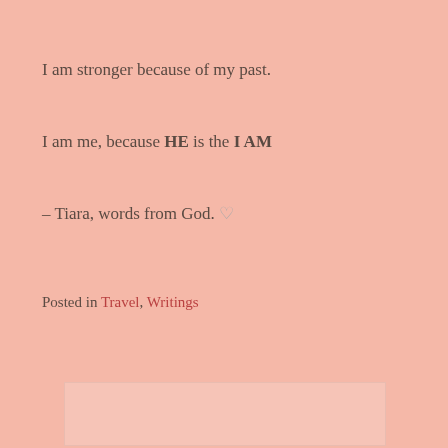I am stronger because of my past.
I am me, because HE is the I AM
– Tiara, words from God. ♡
Posted in Travel, Writings